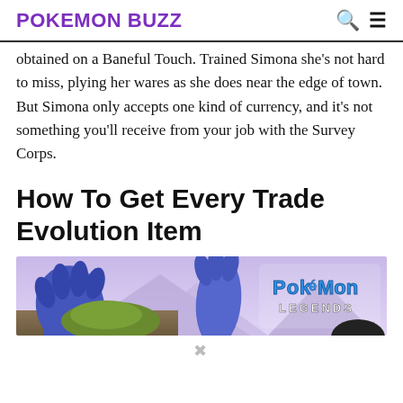POKEMON BUZZ
obtained on a Baneful Touch. Trained Simona she’s not hard to miss, plying her wares as she does near the edge of town. But Simona only accepts one kind of currency, and it’s not something you’ll receive from your job with the Survey Corps.
How To Get Every Trade Evolution Item
[Figure (photo): Pokemon Legends banner image showing blue Pokémon hands raised against a purple/lavender sky with mountains, and the Pokémon Legends logo on the right side.]